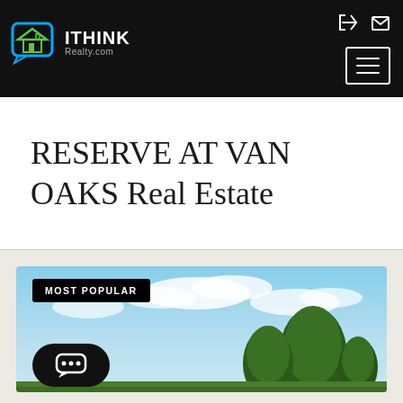[Figure (logo): iThink Realty.com logo with house icon on dark header]
RESERVE AT VAN OAKS Real Estate
[Figure (photo): Property listing photo showing trees against blue sky with 'MOST POPULAR' badge and chat button overlay]